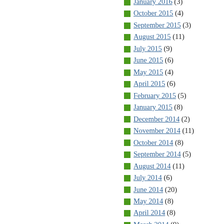January 2016 (3)
October 2015 (4)
September 2015 (3)
August 2015 (11)
July 2015 (9)
June 2015 (6)
May 2015 (4)
April 2015 (6)
February 2015 (5)
January 2015 (8)
December 2014 (2)
November 2014 (11)
October 2014 (8)
September 2014 (5)
August 2014 (11)
July 2014 (6)
June 2014 (20)
May 2014 (8)
April 2014 (8)
March 2014 (9)
February 2014 (14)
January 2014 (3)
December 2013 (12)
November 2013 (25)
October 2013 (32)
September 2013 (28)